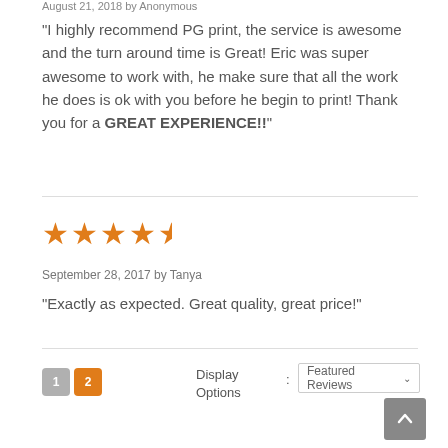August 21, 2018 by Anonymous
“I highly recommend PG print, the service is awesome and the turn around time is Great! Eric was super awesome to work with, he make sure that all the work he does is ok with you before he begin to print! Thank you for a GREAT EXPERIENCE!!”
[Figure (other): 5 orange stars rating]
September 28, 2017 by Tanya
“Exactly as expected. Great quality, great price!”
Display Options
Pagination: page 1 and page 2 buttons, Featured Reviews dropdown